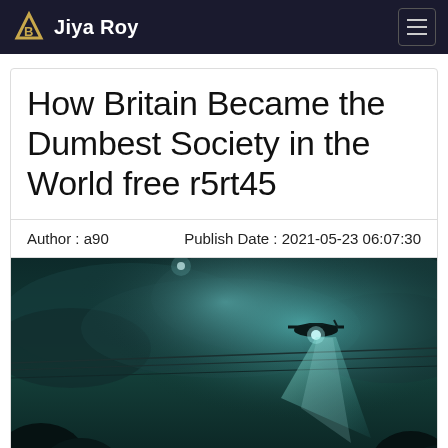Jiya Roy
How Britain Became the Dumbest Society in the World free r5rt45
Author : a90    Publish Date : 2021-05-23 06:07:30
[Figure (photo): Dark moody nighttime photo showing helicopter with searchlight beam cutting through teal-tinted cloudy sky above power lines and silhouetted trees]